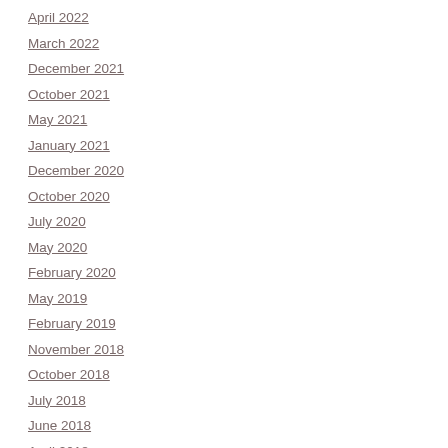April 2022
March 2022
December 2021
October 2021
May 2021
January 2021
December 2020
October 2020
July 2020
May 2020
February 2020
May 2019
February 2019
November 2018
October 2018
July 2018
June 2018
April 2018
March 2018